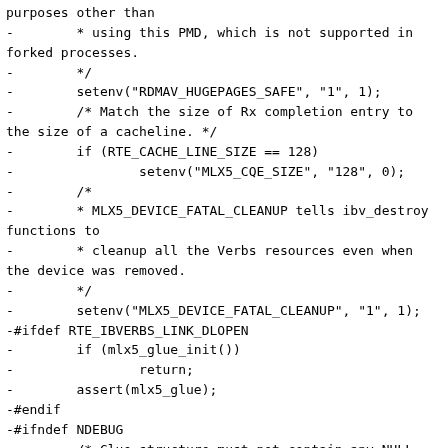purposes other than
-        * using this PMD, which is not supported in forked processes.
-        */
-        setenv("RDMAV_HUGEPAGES_SAFE", "1", 1);
-        /* Match the size of Rx completion entry to the size of a cacheline. */
-        if (RTE_CACHE_LINE_SIZE == 128)
-                setenv("MLX5_CQE_SIZE", "128", 0);
-        /*
-        * MLX5_DEVICE_FATAL_CLEANUP tells ibv_destroy functions to
-        * cleanup all the Verbs resources even when the device was removed.
-        */
-        setenv("MLX5_DEVICE_FATAL_CLEANUP", "1", 1);
-#ifdef RTE_IBVERBS_LINK_DLOPEN
-        if (mlx5_glue_init())
-                return;
-        assert(mlx5_glue);
-#endif
-#ifndef NDEBUG
-        /* Glue structure must not contain any NULL pointers. */
-        {
-                unsigned int i;
-
-                for (i = 0; i != sizeof(*mlx5_glue) / sizeof(void *); ++i)
-                        assert((const void *const